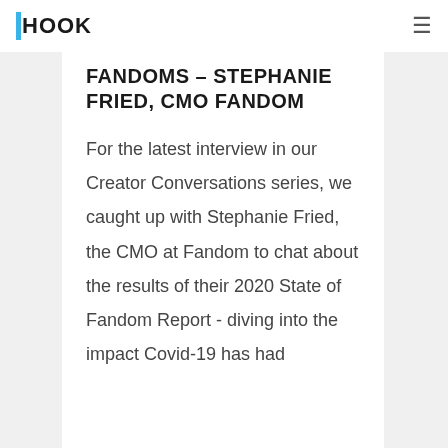HOOK
FANDOMS – STEPHANIE FRIED, CMO FANDOM
For the latest interview in our Creator Conversations series, we caught up with Stephanie Fried, the CMO at Fandom to chat about the results of their 2020 State of Fandom Report - diving into the impact Covid-19 has had...